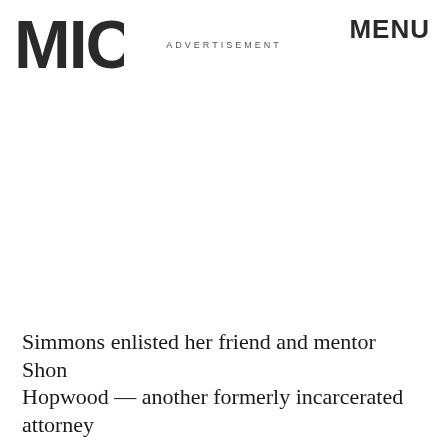MIC — MENU — ADVERTISEMENT
Simmons enlisted her friend and mentor Shon Hopwood — another formerly incarcerated attorney